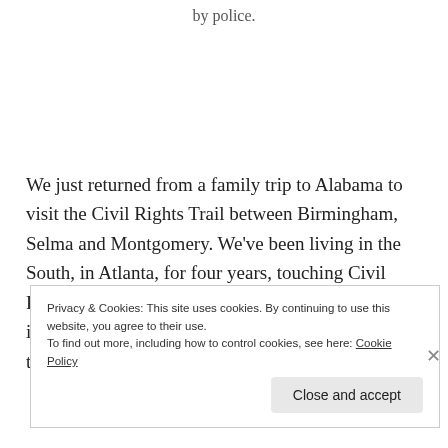by police.
We just returned from a family trip to Alabama to visit the Civil Rights Trail between Birmingham, Selma and Montgomery. We've been living in the South, in Atlanta, for four years, touching Civil Rights and the country's dark history of racial injustice against black people a little more closely than we did during our years growing
Privacy & Cookies: This site uses cookies. By continuing to use this website, you agree to their use.
To find out more, including how to control cookies, see here: Cookie Policy
Close and accept